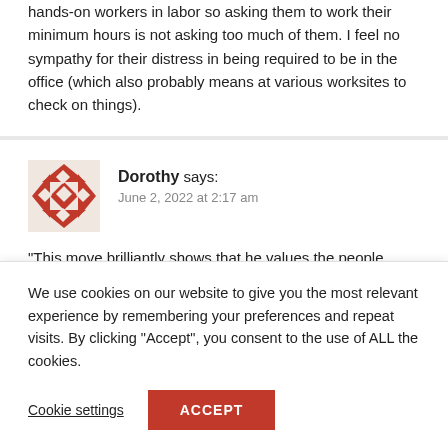hands-on workers in labor so asking them to work their minimum hours is not asking too much of them. I feel no sympathy for their distress in being required to be in the office (which also probably means at various worksites to check on things).
Dorothy says: June 2, 2022 at 2:17 am
“This move brilliantly shows that he values the people
We use cookies on our website to give you the most relevant experience by remembering your preferences and repeat visits. By clicking “Accept”, you consent to the use of ALL the cookies.